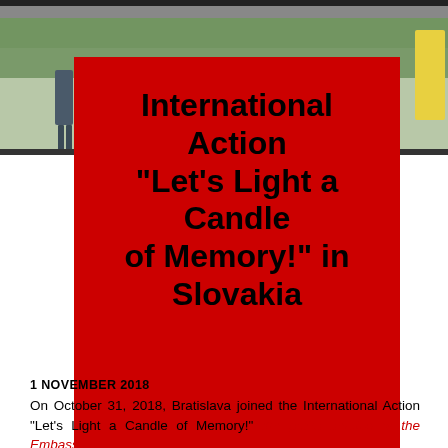[Figure (photo): Photograph of people walking outdoors, visible from waist down, along a road or path with greenery in the background. One person carries a yellow object.]
International Action "Let's Light a Candle of Memory!" in Slovakia
1 NOVEMBER 2018
On October 31, 2018, Bratislava joined the International Action “Let’s Light a Candle of Memory!” the press service of the Embassy of
the press service of the Embassy of